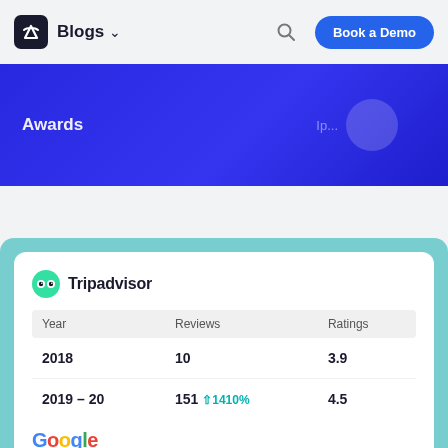Blogs · Book a Demo
[Figure (screenshot): Blue banner with 'Awards' text on left and partially visible text on right, with decorative circle element]
| Year | Reviews | Ratings |
| --- | --- | --- |
| 2018 | 10 | 3.9 |
| 2019 – 20 | 151  +1410% | 4.5 |
[Figure (logo): Google logo (partial, bottom of card)]